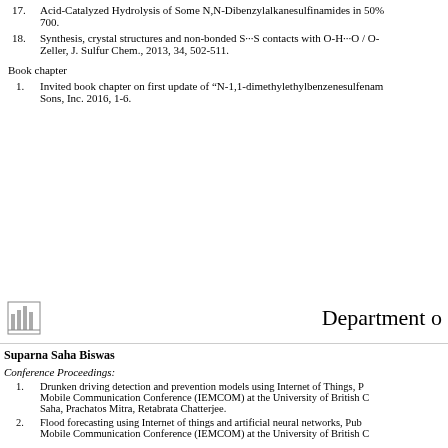17. Acid-Catalyzed Hydrolysis of Some N,N-Dibenzylalkanesulfinamides in 50% ... 700.
18. Synthesis, crystal structures and non-bonded S···S contacts with O-H···O / O-... Zeller, J. Sulfur Chem., 2013, 34, 502-511.
Book chapter
1. Invited book chapter on first update of “N-1,1-dimethylethylbenzenesulfenam... Sons, Inc. 2016, 1-6.
Department o...
Suparna Saha Biswas
Conference Proceedings:
1. Drunken driving detection and prevention models using Internet of Things, P... Mobile Communication Conference (IEMCOM) at the University of British C... Saha, Prachatos Mitra, Retabrata Chatterjee.
2. Flood forecasting using Internet of things and artificial neural networks, Pub... Mobile Communication Conference (IEMCOM) at the University of British C...